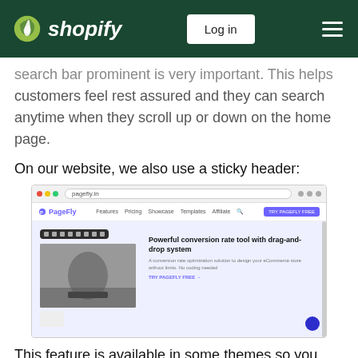shopify | Log in
search bar prominent is very important. This helps customers feel rest assured and they can search anytime when they scroll up or down on the home page.
On our website, we also use a sticky header:
[Figure (screenshot): Screenshot of a browser window showing the PageFly website with a sticky navigation header and a page builder interface showing a skateboarding image and text 'Powerful conversion rate tool with drag-and-drop system']
This feature is available in some themes so you just need to enable it. In other cases, you may need